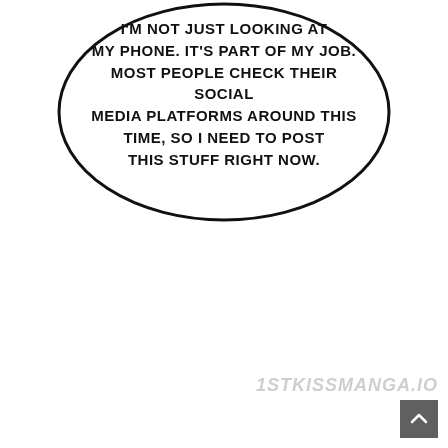[Figure (illustration): A manga-style speech bubble (oval/ellipse shape with black outline) containing uppercase text]
I'M NOT JUST LOOKING AT MY PHONE. IT'S PART OF MY JOB. MOST PEOPLE CHECK THEIR SOCIAL MEDIA PLATFORMS AROUND THIS TIME, SO I NEED TO POST THIS STUFF RIGHT NOW.
1STKISSMANGA.IO